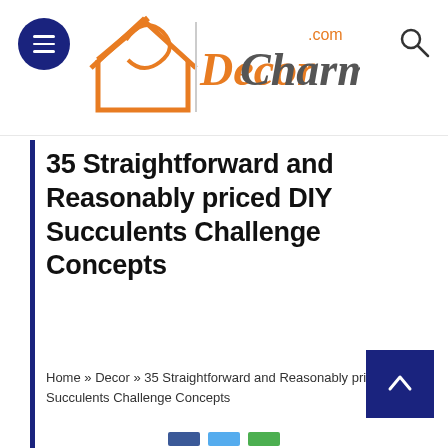[Figure (logo): DecorCharm.com logo with orange house/arrow graphic and gray/orange text]
35 Straightforward and Reasonably priced DIY Succulents Challenge Concepts
Home » Decor » 35 Straightforward and Reasonably priced DIY Succulents Challenge Concepts